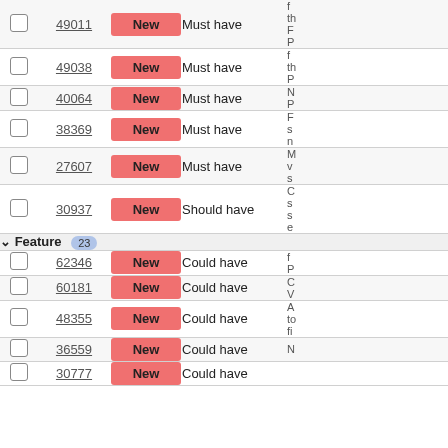|  | ID | Status | Priority | Description |
| --- | --- | --- | --- | --- |
| ☐ | 49011 | New | Must have | (partial, cut off at top) |
| ☐ | 49038 | New | Must have | (partial text) |
| ☐ | 40064 | New | Must have | (partial text) |
| ☐ | 38369 | New | Must have | (partial text) |
| ☐ | 27607 | New | Must have | (partial text) |
| ☐ | 30937 | New | Should have | (partial text) |
| Feature 23 section header |  |  |  |  |
| ☐ | 62346 | New | Could have | (partial text) |
| ☐ | 60181 | New | Could have | (partial text) |
| ☐ | 48355 | New | Could have | (partial text) |
| ☐ | 36559 | New | Could have | (partial text) |
| ☐ | 30777 | New | Could have | (partial, cut off at bottom) |